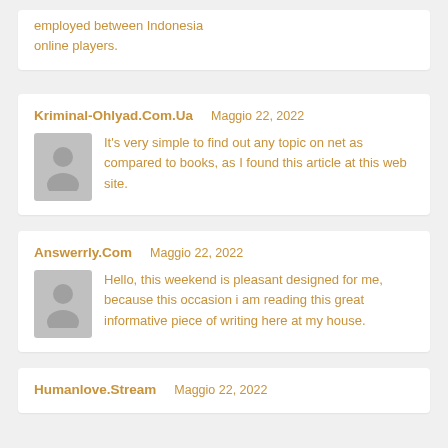employed between Indonesia online players.
Kriminal-Ohlyad.Com.Ua   Maggio 22, 2022
It's very simple to find out any topic on net as compared to books, as I found this article at this web site.
Answerrly.Com   Maggio 22, 2022
Hello, this weekend is pleasant designed for me, because this occasion i am reading this great informative piece of writing here at my house.
Humanlove.Stream   Maggio 22, 2022